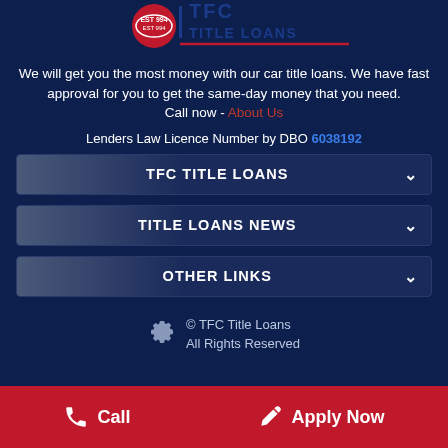[Figure (logo): TFC Title Loans logo with EST 994 badge and red/blue horizontal line]
We will get you the most money with our car title loans. We have fast approval for you to get the same-day money that you need. Call now - About Us
Lenders Law Licence Number by DBO 6038192
TFC TITLE LOANS
TITLE LOANS NEWS
OTHER LINKS
© TFC Title Loans All Rights Reserved
Call   Apply Now